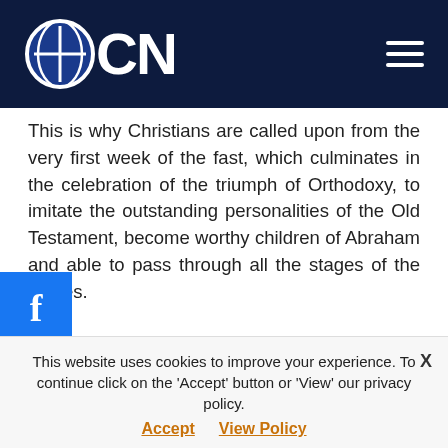OCN
This is why Christians are called upon from the very first week of the fast, which culminates in the celebration of the triumph of Orthodoxy, to imitate the outstanding personalities of the Old Testament, become worthy children of Abraham and able to pass through all the stages of the virtues.
Notes:
[1] 'The prophets, inspired by your Spirit, Lord, foretold that You, Who cannot be comprehended, Who shone forth in eternity
This website uses cookies to improve your experience. To continue click on the 'Accept' button or 'View' our privacy policy. Accept View Policy